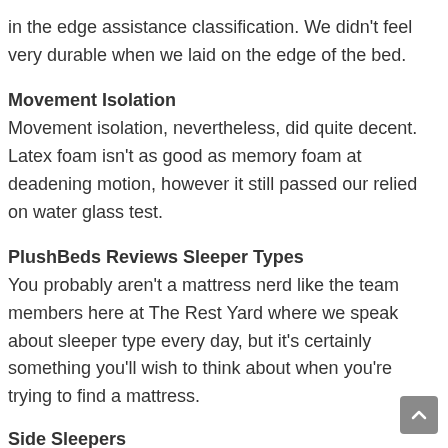in the edge assistance classification. We didn't feel very durable when we laid on the edge of the bed.
Movement Isolation
Movement isolation, nevertheless, did quite decent. Latex foam isn't as good as memory foam at deadening motion, however it still passed our relied on water glass test.
PlushBeds Reviews Sleeper Types
You probably aren't a mattress nerd like the team members here at The Rest Yard where we speak about sleeper type every day, but it's certainly something you'll wish to think about when you're trying to find a mattress.
Side Sleepers